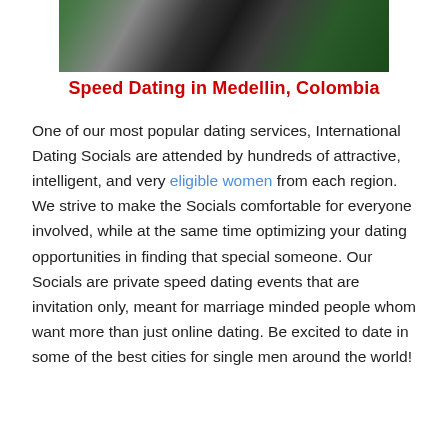[Figure (photo): Cropped photo showing people at an event, partially visible, with green and dark clothing]
Speed Dating in Medellin, Colombia
One of our most popular dating services, International Dating Socials are attended by hundreds of attractive, intelligent, and very eligible women from each region. We strive to make the Socials comfortable for everyone involved, while at the same time optimizing your dating opportunities in finding that special someone. Our Socials are private speed dating events that are invitation only, meant for marriage minded people whom want more than just online dating. Be excited to date in some of the best cities for single men around the world!